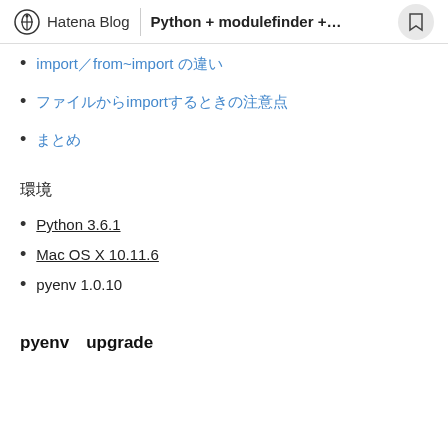Hatena Blog | Python + modulefinder +...
import／from~import の違い
ファイルからimportするときの注意点
まとめ
環境
Python 3.6.1
Mac OS X 10.11.6
pyenv 1.0.10
pyenv　upgrade